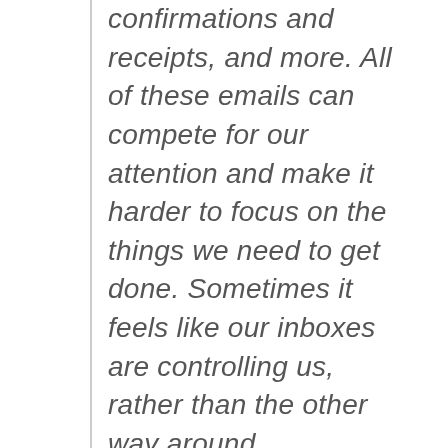confirmations and receipts, and more. All of these emails can compete for our attention and make it harder to focus on the things we need to get done. Sometimes it feels like our inboxes are controlling us, rather than the other way around.